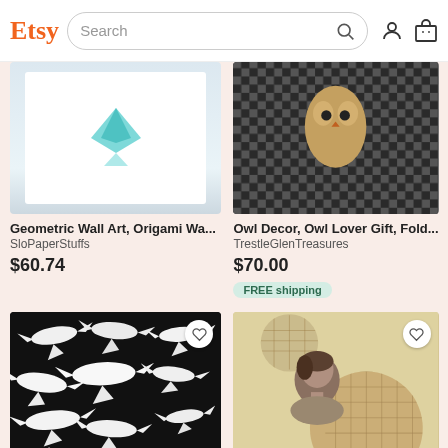[Figure (screenshot): Etsy website header with logo, search bar, user icon, and cart icon]
[Figure (photo): Geometric wall art with origami paper shapes on white background]
Geometric Wall Art, Origami Wa...
SloPaperStuffs
$60.74
[Figure (photo): Owl decor on black and white checkered background]
Owl Decor, Owl Lover Gift, Fold...
TrestleGlenTreasures
$70.00
FREE shipping
[Figure (photo): Paper bird cutouts (doves/birds in flight) on black background]
Paper Birds--Twelve Small Feath...
LorenzKraft
[Figure (photo): Original collage art with vintage portrait photograph and geometric circle shapes]
Original Collage Art, OOAK Art...
dadadreams